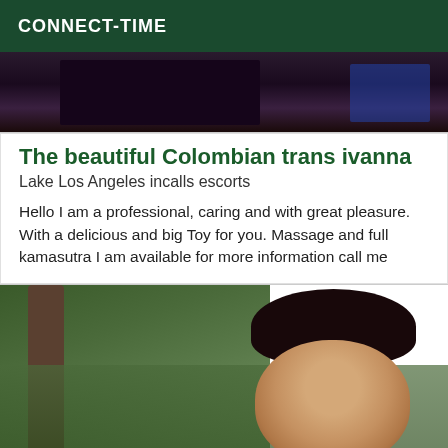CONNECT-TIME
[Figure (photo): Dark toned image strip, appears to be a partial photo at the top of a listing]
The beautiful Colombian trans ivanna
Lake Los Angeles incalls escorts
Hello I am a professional, caring and with great pleasure. With a delicious and big Toy for you. Massage and full kamasutra I am available for more information call me
[Figure (photo): Outdoor photo of a woman with dark hair styled up, against a green leafy background with trees]